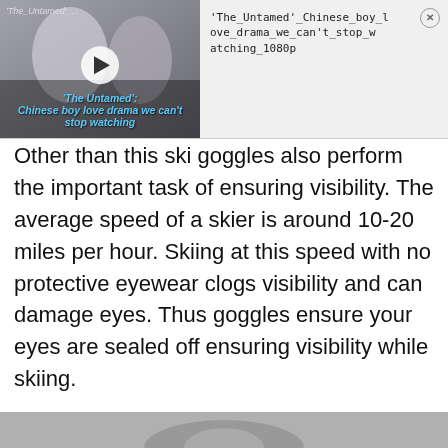[Figure (screenshot): Video ad banner showing 'The Untamed' Chinese boy love drama thumbnail with play button overlay and blue italic title text, alongside filename text and close button]
Other than this ski goggles also perform the important task of ensuring visibility. The average speed of a skier is around 10-20 miles per hour. Skiing at this speed with no protective eyewear clogs visibility and can damage eyes. Thus goggles ensure your eyes are sealed off ensuring visibility while skiing.
[Figure (photo): Partial photo visible at the bottom of the page]